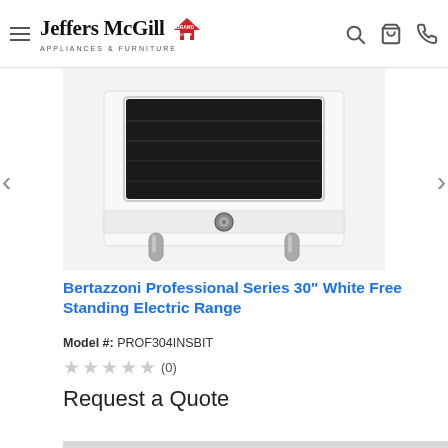Jeffers McGill Appliances & Furniture
[Figure (photo): Bertazzoni Professional Series 30-inch White Free Standing Electric Range — white oven with glass door showing oven interior with racks, circular control knob in center, and two chrome legs at base]
Bertazzoni Professional Series 30" White Free Standing Electric Range
Model #: PROF304INSBIT
★★★★★ (0)
Request a Quote